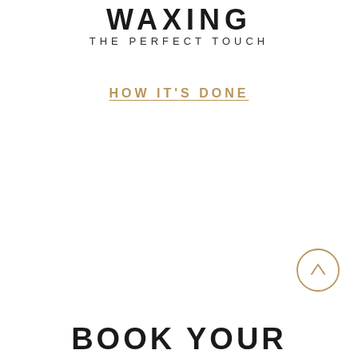WAXING
THE PERFECT TOUCH
HOW IT'S DONE
[Figure (illustration): Circular arrow-up button icon in gold/tan outline]
BOOK YOUR